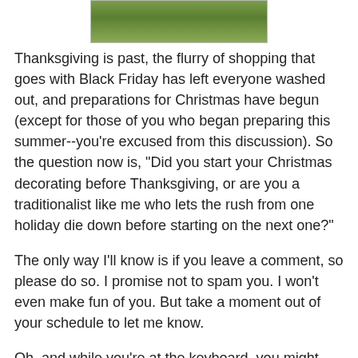[Figure (photo): Partial image of a floral/holiday arrangement at the top of the page]
Thanksgiving is past, the flurry of shopping that goes with Black Friday has left everyone washed out, and preparations for Christmas have begun (except for those of you who began preparing this summer--you're excused from this discussion). So the question now is, "Did you start your Christmas decorating before Thanksgiving, or are you a traditionalist like me who lets the rush from one holiday die down before starting on the next one?"
The only way I'll know is if you leave a comment, so please do so. I promise not to spam you. I won't even make fun of you. But take a moment out of your schedule to let me know.
Oh, and while you're at the keyboard, you might have a quick look at my novella, Silent Night, Deadly Night, which is set in the period between Christmas and New Year's. Or consider buying my latest novel, Miracle Drug, either for a Christmas present or for yourself.
Tweet with a single click: "Do you start Christmas decorating